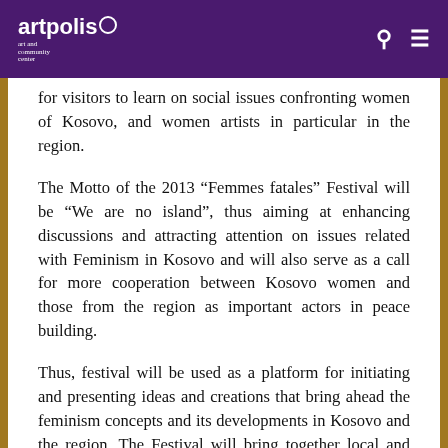artpolis
for visitors to learn on social issues confronting women of Kosovo, and women artists in particular in the region.
The Motto of the 2013 “Femmes fatales” Festival will be “We are no island”, thus aiming at enhancing discussions and attracting attention on issues related with Feminism in Kosovo and will also serve as a call for more cooperation between Kosovo women and those from the region as important actors in peace building.
Thus, festival will be used as a platform for initiating and presenting ideas and creations that bring ahead the feminism concepts and its developments in Kosovo and the region. The Festival will bring together local and regional women artists of all experience levels, from first time exhibitors to